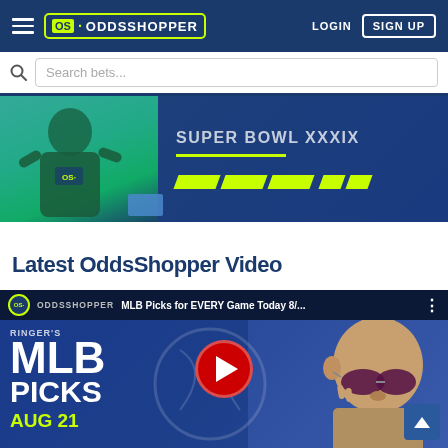OddsShopper - Navigation bar with hamburger menu, logo, LOGIN and SIGN UP buttons
Search bets...
[Figure (photo): Promotional banner with athlete figure in green/blue tones, OddsShopper branding, yellow-green accent lines and slashes]
Latest OddsShopper Video
[Figure (screenshot): YouTube video thumbnail for MLB Picks for EVERY Game Today 8/... by OddsShopper channel, showing bald man with sunglasses, large MLB PICKS text, YouTube play button, and AUG 21 date in yellow]